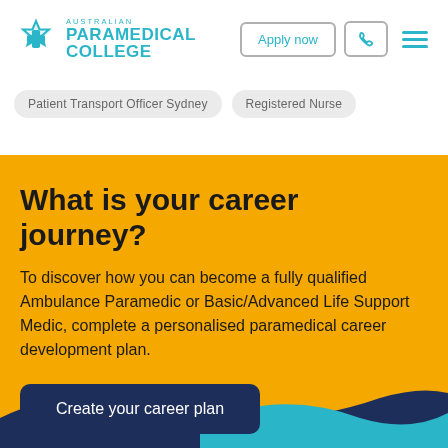[Figure (logo): Australian Paramedical College logo with teal star-of-life icon and teal text]
Apply now
Patient Transport Officer Sydney
Registered Nurse
What is your career journey?
To discover how you can become a fully qualified Ambulance Paramedic or Basic/Advanced Life Support Medic, complete a personalised paramedical career development plan.
Create your career plan